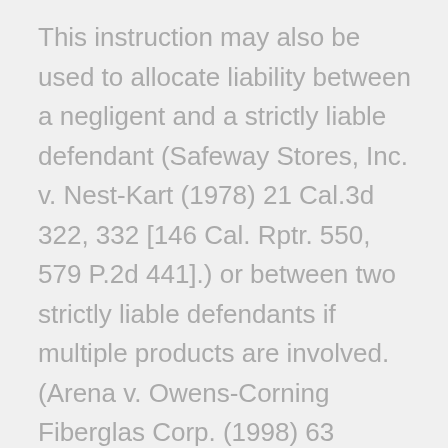This instruction may also be used to allocate liability between a negligent and a strictly liable defendant (Safeway Stores, Inc. v. Nest-Kart (1978) 21 Cal.3d 322, 332 [146 Cal. Rptr. 550, 579 P.2d 441].) or between two strictly liable defendants if multiple products are involved. (Arena v. Owens-Corning Fiberglas Corp. (1998) 63 Cal.App.4th 1178, 1198 [74 Cal.Rptr.2d 580].) However, there is no comparative fault among entities in the distribution chain of the same product. Each remains fully liable for the plaintiff's economic